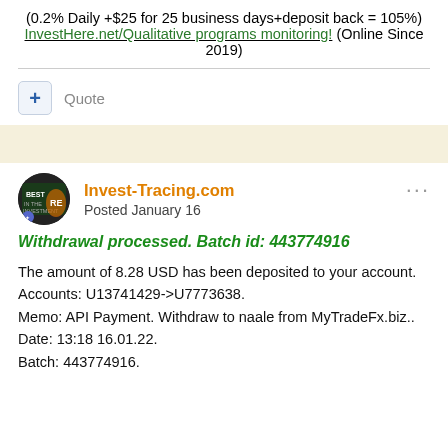(0.2% Daily +$25 for 25 business days+deposit back = 105%) InvestHere.net/Qualitative programs monitoring! (Online Since 2019)
Quote
Invest-Tracing.com
Posted January 16
Withdrawal processed. Batch id: 443774916
The amount of 8.28 USD has been deposited to your account.
Accounts: U13741429->U7773638.
Memo: API Payment. Withdraw to naale from MyTradeFx.biz..
Date: 13:18 16.01.22.
Batch: 443774916.